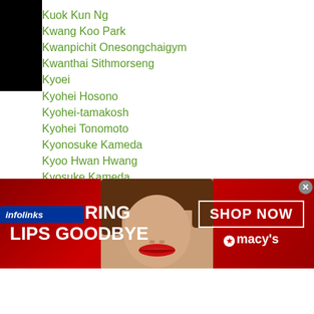Kuok Kun Ng
Kwang Koo Park
Kwanpichit Onesongchaigym
Kwanthai Sithmorseng
Kyoei
Kyohei Hosono
Kyohei-tamakosh
Kyohei Tonomoto
Kyonosuke Kameda
Kyoo Hwan Hwang
Kyosuke Kameda
Kyosuke Sawada
Kyosuke Takami
Kyosuke Tsutsumimoto
Kyotaro
n Fujimoto
[Figure (screenshot): Advertisement banner for Macy's lipstick with text 'KISS BORING LIPS GOODBYE' and 'SHOP NOW' button, showing a woman's face with red lipstick]